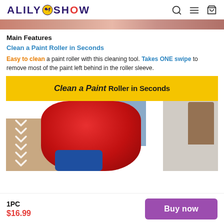ALILY SHOW
[Figure (photo): Top partial image strip showing a person, cropped at top of page]
Main Features
Clean a Paint Roller in Seconds
Easy to clean a paint roller with this cleaning tool. Takes ONE swipe to remove most of the paint left behind in the roller sleeve.
[Figure (photo): Product promotional image showing a paint roller being cleaned with a blue tool. Yellow banner at top reads 'Clean a Paint Roller in Seconds'. White chevron arrows on left side.]
1PC
$16.99
Buy now